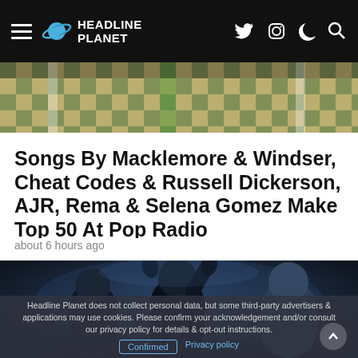Headline Planet
[Figure (photo): Colorful checkerboard-style outdoor scene, partial view of a music video or event]
Songs By Macklemore & Windser, Cheat Codes & Russell Dickerson, AJR, Rema & Selena Gomez Make Top 50 At Pop Radio
about 6 hours ago
[Figure (photo): Three people/performers in a dark, moody indoor setting with atmospheric lighting]
Headline Planet does not collect personal data, but some third-party advertisers & applications may use cookies. Please confirm your acknowledgement and/or consult our privacy policy for details & opt-out instructions.